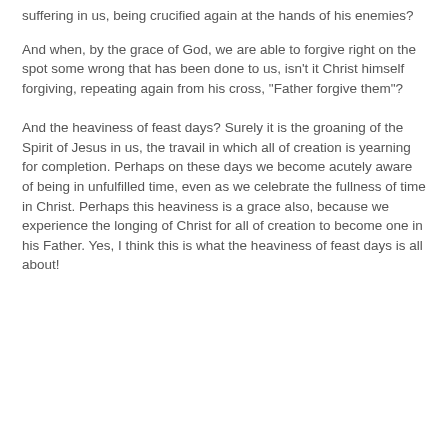suffering in us, being crucified again at the hands of his enemies?
And when, by the grace of God, we are able to forgive right on the spot some wrong that has been done to us, isn't it Christ himself forgiving, repeating again from his cross, "Father forgive them"?
And the heaviness of feast days? Surely it is the groaning of the Spirit of Jesus in us, the travail in which all of creation is yearning for completion. Perhaps on these days we become acutely aware of being in unfulfilled time, even as we celebrate the fullness of time in Christ. Perhaps this heaviness is a grace also, because we experience the longing of Christ for all of creation to become one in his Father. Yes, I think this is what the heaviness of feast days is all about!